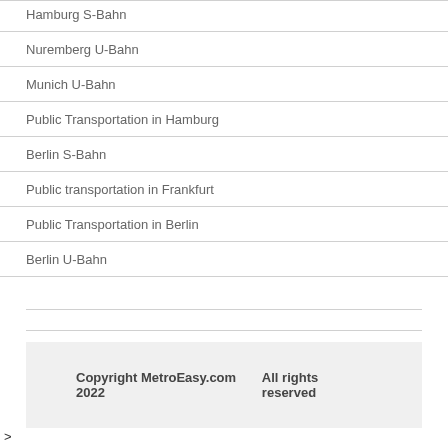Hamburg S-Bahn
Nuremberg U-Bahn
Munich U-Bahn
Public Transportation in Hamburg
Berlin S-Bahn
Public transportation in Frankfurt
Public Transportation in Berlin
Berlin U-Bahn
Copyright MetroEasy.com 2022   All rights reserved